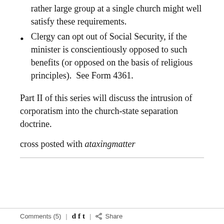rather large group at a single church might well satisfy these requirements.
Clergy can opt out of Social Security, if the minister is conscientiously opposed to such benefits (or opposed on the basis of religious principles).  See Form 4361.
Part II of this series will discuss the intrusion of corporatism into the church-state separation doctrine.
cross posted with ataxingmatter
Comments (5)  |  d  f  t  |  Share